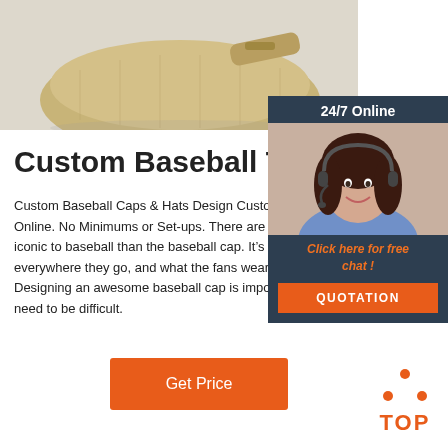[Figure (photo): Product photo of a beige/tan baseball cap or bag on a light background]
[Figure (other): 24/7 Online chat widget with a female customer support agent wearing headset, orange 'Click here for free chat!' text and orange QUOTATION button]
Custom Baseball Team Ha...
Custom Baseball Caps & Hats Design Custom Base... Online. No Minimums or Set-ups. There are few things iconic to baseball than the baseball cap. It’s what pla... everywhere they go, and what the fans wear in the s... Designing an awesome baseball cap is important, b... need to be difficult.
Get Price
[Figure (other): Orange TOP back-to-top widget with three orange dots forming a triangle above the word TOP]